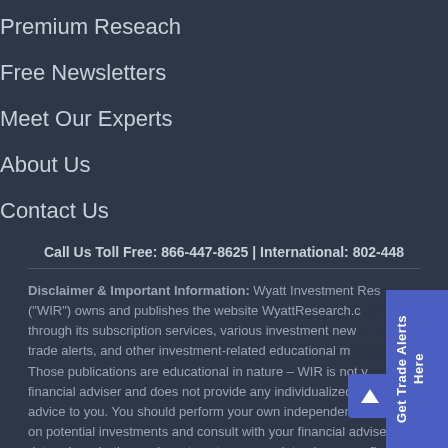Premium Reseach
Free Newsletters
Meet Our Experts
About Us
Contact Us
Call Us Toll Free: 866-447-8625 | International: 802-448-...
Disclaimer & Important Information: Wyatt Investment Research ("WIR") owns and publishes the website WyattResearch.com and through its subscription services, various investment newsletters, trade alerts, and other investment-related educational materials. Those publications are educational in nature – WIR is not your financial adviser and does not provide any individualized investment advice to you. You should perform your own independent research on potential investments and consult with your financial adviser to determine whether an investment is appropriate given your financial needs, objectives, and risk appetite. Readers are advised that this publication is issued solely for informational purposes and should not be construed as an